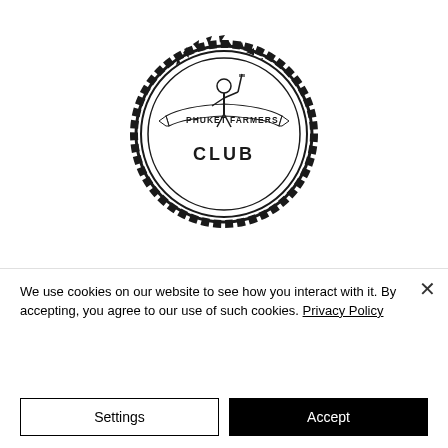[Figure (logo): Phuket Farmers Club circular badge logo with a farmer figure holding a pitchfork in the center, surrounded by text 'PHUKET FARMERS CLUB' and a gear/cog border]
We use cookies on our website to see how you interact with it. By accepting, you agree to our use of such cookies. Privacy Policy
Settings
Accept